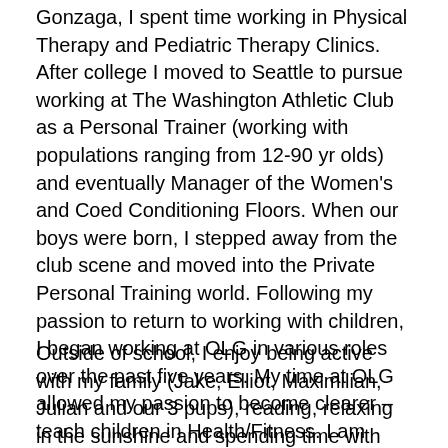Gonzaga, I spent time working in Physical Therapy and Pediatric Therapy Clinics. After college I moved to Seattle to pursue working at The Washington Athletic Club as a Personal Trainer (working with populations ranging from 12-90 yr olds) and eventually Manager of the Women's and Coed Conditioning Floors. When our boys were born, I stepped away from the club scene and moved into the Private Personal Training world. Following my passion to return to working with children, I began working at OLG in various roles over the past five years. My time at OLG allowed my passion to become clearer – teach children in Health/Fitness. I am beyond excited to merge my expertise and launch full speed into OLG PE.
Outside of school, I enjoy being active with my family (Jake, Elliot, Maximilian, Julian and our 3 pups), reading, relaxing in the sunshine and spending time with family & friends. This past